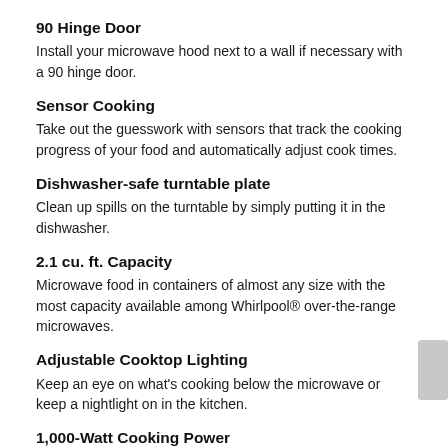90 Hinge Door
Install your microwave hood next to a wall if necessary with a 90 hinge door.
Sensor Cooking
Take out the guesswork with sensors that track the cooking progress of your food and automatically adjust cook times.
Dishwasher-safe turntable plate
Clean up spills on the turntable by simply putting it in the dishwasher.
2.1 cu. ft. Capacity
Microwave food in containers of almost any size with the most capacity available among Whirlpool® over-the-range microwaves.
Adjustable Cooktop Lighting
Keep an eye on what's cooking below the microwave or keep a nightlight on in the kitchen.
1,000-Watt Cooking Power
Get quick and even cooking with 1,000 watts of cooking